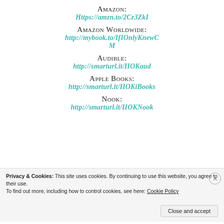Amazon:
https://amzn.to/2Cr3ZkI
Amazon Worldwide:
http://mybook.to/IfIOnlyKnewCM
Audible:
http://smarturl.it/IIOKaud
Apple Books:
http://smarturl.it/IIOKiBooks
Nook:
http://smarturl.it/IIOKNook
Privacy & Cookies: This site uses cookies. By continuing to use this website, you agree to their use.
To find out more, including how to control cookies, see here: Cookie Policy
Close and accept